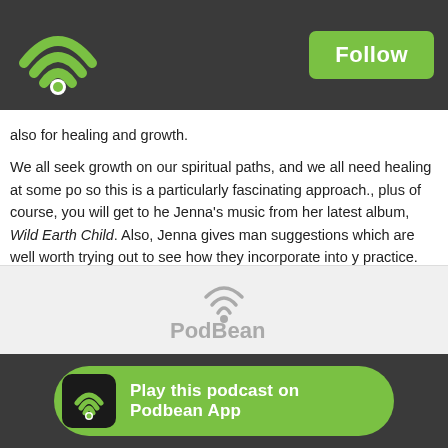Follow
also for healing and growth.
We all seek growth on our spiritual paths, and we all need healing at some po so this is a particularly fascinating approach., plus of course, you will get to he Jenna's music from her latest album, Wild Earth Child. Also, Jenna gives man suggestions which are well worth trying out to see how they incorporate into y practice.
If you want to find out more about Jenna, her work and her music, please che website here:
http://www.greeneladymusic.com/
I do hope you enjoy the show!
Brightest blessings,
Tylluan
[Figure (logo): PodBean logo with arc/wifi graphic]
Play this podcast on Podbean App